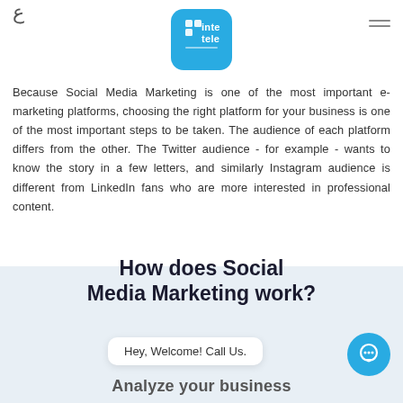ع  [inter teleco logo]  ☰
solutions that will help your company reach the target audience by
Because Social Media Marketing is one of the most important e-marketing platforms, choosing the right platform for your business is one of the most important steps to be taken. The audience of each platform differs from the other. The Twitter audience - for example - wants to know the story in a few letters, and similarly Instagram audience is different from LinkedIn fans who are more interested in professional content.
How does Social Media Marketing work?
Hey, Welcome! Call Us.
Analyze your business